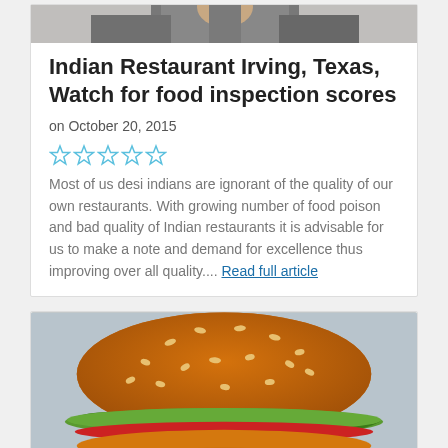[Figure (photo): Top portion of a photo showing people in business attire, cropped at the top of the card]
Indian Restaurant Irving, Texas, Watch for food inspection scores
on October 20, 2015
[Figure (other): Five empty star rating icons in blue/gold outline]
Most of us desi indians are ignorant of the quality of our own restaurants. With growing number of food poison and bad quality of Indian restaurants it is advisable for us to make a note and demand for excellence thus improving over all quality.... Read full article
[Figure (photo): Photo of a large hamburger with sesame seed bun, lettuce, tomato, and other fillings on a light blue-grey background]